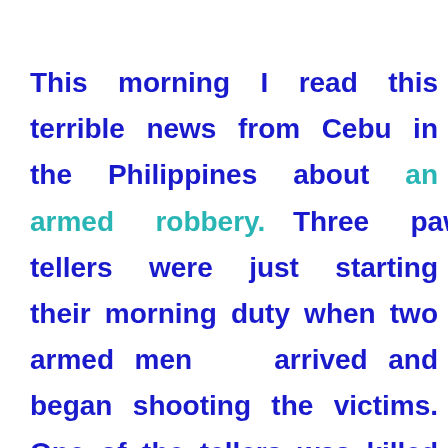This morning I read this terrible news from Cebu in the Philippines about an armed robbery. Three pawnshop tellers were just starting their morning duty when two armed men arrived and began shooting the victims. One of the tellers was killed and the others